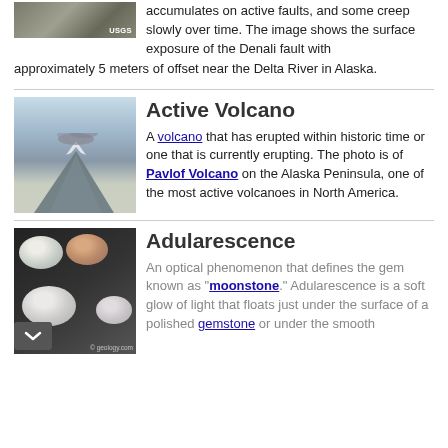[Figure (photo): Rock surface with USGS credit label showing the surface exposure of the Denali fault]
accumulates on active faults, and some creep slowly over time. The image shows the surface exposure of the Denali fault with approximately 5 meters of offset near the Delta River in Alaska.
Active Volcano
[Figure (photo): Pavlof Volcano on the Alaska Peninsula erupting with ash plume, snow-covered landscape]
A volcano that has erupted within historic time or one that is currently erupting. The photo is of Pavlof Volcano on the Alaska Peninsula, one of the most active volcanoes in North America.
Adularescence
[Figure (photo): Multiple moonstone gems showing adularescence optical phenomenon, © geology.com]
An optical phenomenon that defines the gem known as "moonstone." Adularescence is a soft glow of light that floats just under the surface of a polished gemstone or under the smooth